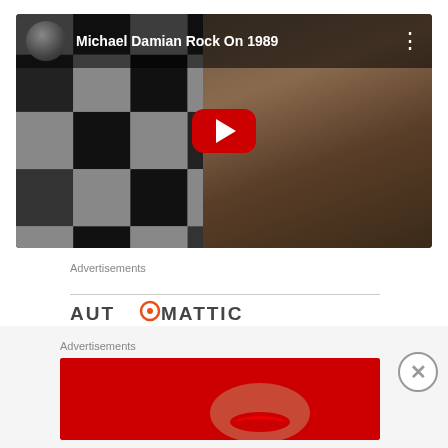[Figure (screenshot): YouTube video embed thumbnail for 'Michael Damian Rock On 1989' showing a man with a checkered background, with the YouTube play button overlay and video title bar]
Advertisements
[Figure (logo): Automattic logo in gray lettering with a circular icon replacing the 'O']
Advertisements
[Figure (screenshot): Macy's advertisement banner: 'KISS BORING LIPS GOODBYE' with red lipstick model photo, 'SHOP NOW' button, and Macy's star logo on red background]